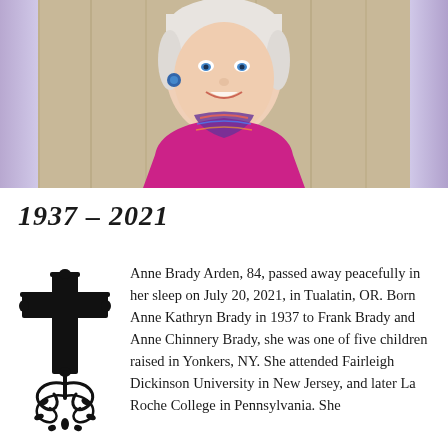[Figure (photo): Portrait photo of an elderly woman with blue eyes wearing a magenta top and colorful scarf with blue earrings, smiling in front of a wooden fence background. The photo has a light purple/lavender gradient border on the sides.]
1937 – 2021
[Figure (illustration): Decorative black ornate Christian cross with floral flourishes and scrollwork design.]
Anne Brady Arden, 84, passed away peacefully in her sleep on July 20, 2021, in Tualatin, OR. Born Anne Kathryn Brady in 1937 to Frank Brady and Anne Chinnery Brady, she was one of five children raised in Yonkers, NY. She attended Fairleigh Dickinson University in New Jersey, and later La Roche College in Pennsylvania. She